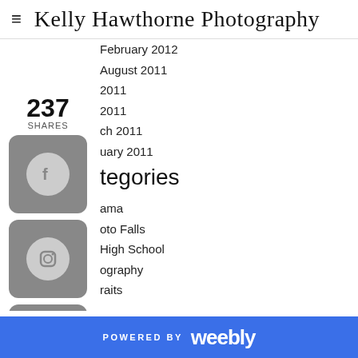Kelly Hawthorne Photography
February 2012
August 2011
2011
2011
ch 2011
uary 2011
tegories
ama
oto Falls
High School
ography
raits
POWERED BY weebly